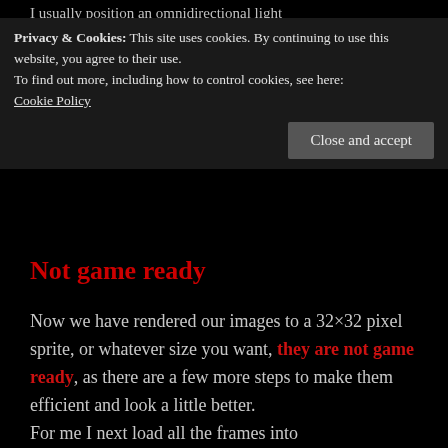I usually position an omnidirectional light
Privacy & Cookies: This site uses cookies. By continuing to use this website, you agree to their use.
To find out more, including how to control cookies, see here: Cookie Policy
Close and accept
Not game ready
Now we have rendered our images to a 32×32 pixel sprite, or whatever size you want, they are not game ready, as there are a few more steps to make them efficient and look a little better.
For me I next load all the frames into